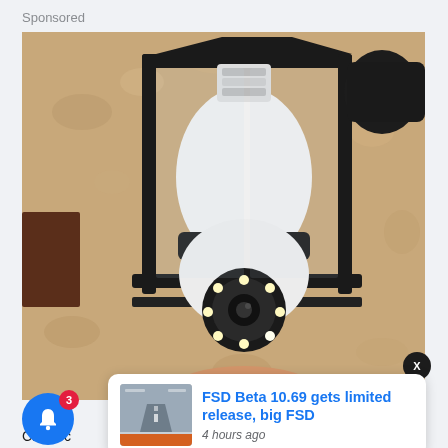Sponsored
[Figure (photo): Photo of a white smart security camera shaped like a light bulb, installed inside a black metal outdoor lantern fixture mounted on a textured beige stucco wall. A hand is visible holding the camera from below. The camera has a circular lens with LED lights at the bottom.]
[Figure (screenshot): Small thumbnail image showing a Tesla FSD Beta interface screenshot, with a road ahead and orange bar at the bottom.]
FSD Beta 10.69 gets limited release, big FSD
4 hours ago
Camerc
n More